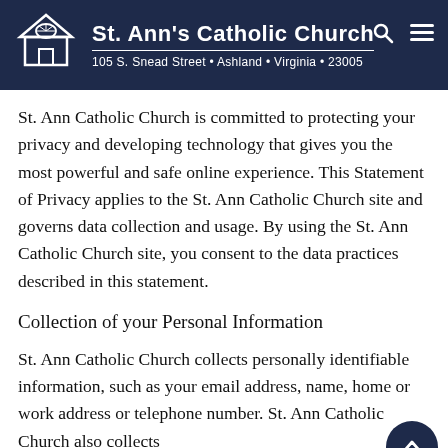St. Ann's Catholic Church
105 S. Snead Street • Ashland • Virginia • 23005
St. Ann Catholic Church is committed to protecting your privacy and developing technology that gives you the most powerful and safe online experience. This Statement of Privacy applies to the St. Ann Catholic Church site and governs data collection and usage. By using the St. Ann Catholic Church site, you consent to the data practices described in this statement.
Collection of your Personal Information
St. Ann Catholic Church collects personally identifiable information, such as your email address, name, home or work address or telephone number. St. Ann Catholic Church also collects